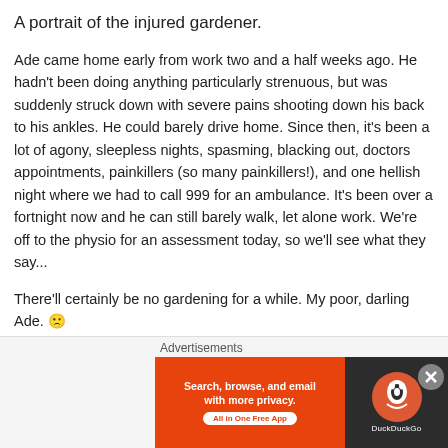A portrait of the injured gardener.
Ade came home early from work two and a half weeks ago. He hadn't been doing anything particularly strenuous, but was suddenly struck down with severe pains shooting down his back to his ankles. He could barely drive home. Since then, it's been a lot of agony, sleepless nights, spasming, blacking out, doctors appointments, painkillers (so many painkillers!), and one hellish night where we had to call 999 for an ambulance. It's been over a fortnight now and he can still barely walk, let alone work. We're off to the physio for an assessment today, so we'll see what they say...
There'll certainly be no gardening for a while. My poor, darling Ade. 🙁
#ouch #getbetter #getwellsoon #gardener #garden #inthegarden #injuredgardener #injury #injurysucks #backinjury #backpain #heworkstoohard #thejoyofgardening #gardenerslife #professionalgardener #gardenblogger #gardenersofinstagram
Advertisements
[Figure (other): DuckDuckGo advertisement banner: orange background with text 'Search, browse, and email with more privacy. All in One Free App' and DuckDuckGo logo on dark background.]